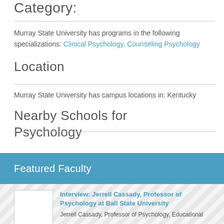Category:
Murray State University has programs in the following specializations: Clinical Psychology, Counseling Psychology
Location
Murray State University has campus locations in: Kentucky
Nearby Schools for Psychology
Featured Faculty
[Figure (photo): Placeholder image for faculty photo]
Interview: Jerrell Cassady, Professor of Psychology at Ball State University
Jerrell Cassady, Professor of Psychology, Educational